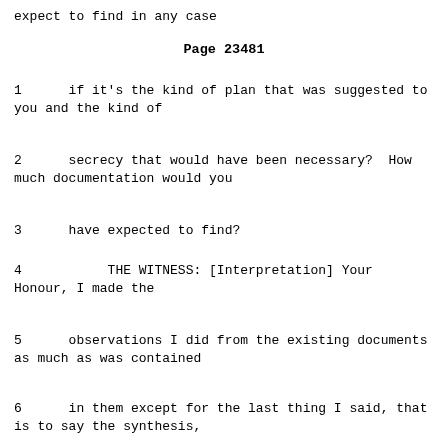expect to find in any case
Page 23481
1    if it's the kind of plan that was suggested to you and the kind of
2    secrecy that would have been necessary?  How much documentation would you
3    have expected to find?
4         THE WITNESS: [Interpretation] Your Honour, I made the
5    observations I did from the existing documents as much as was contained
6    in them except for the last thing I said, that is to say the synthesis,